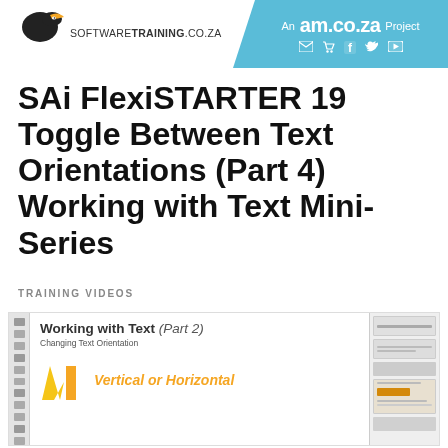[Figure (logo): SoftwareTraining.co.za logo with bird graphic and site name]
[Figure (logo): am.co.za project banner with social media icons on cyan diagonal background]
SAi FlexiSTARTER 19 Toggle Between Text Orientations (Part 4) Working with Text Mini-Series
TRAINING VIDEOS
[Figure (screenshot): Screenshot of software interface showing 'Working with Text (Part 2) Changing Text Orientation' with a yellow W logo mark and orange italic text reading 'Vertical or Horizontal', alongside toolbar and panel UI elements]